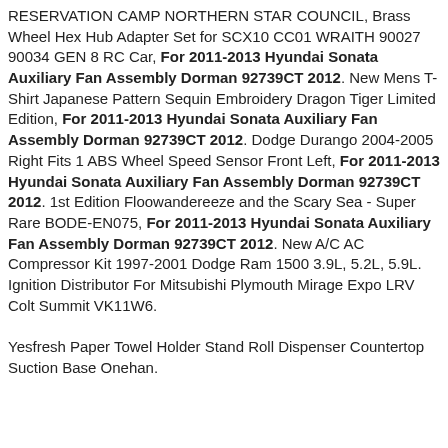RESERVATION CAMP NORTHERN STAR COUNCIL, Brass Wheel Hex Hub Adapter Set for SCX10 CC01 WRAITH 90027 90034 GEN 8 RC Car, For 2011-2013 Hyundai Sonata Auxiliary Fan Assembly Dorman 92739CT 2012. New Mens T-Shirt Japanese Pattern Sequin Embroidery Dragon Tiger Limited Edition, For 2011-2013 Hyundai Sonata Auxiliary Fan Assembly Dorman 92739CT 2012. Dodge Durango 2004-2005 Right Fits 1 ABS Wheel Speed Sensor Front Left, For 2011-2013 Hyundai Sonata Auxiliary Fan Assembly Dorman 92739CT 2012. 1st Edition Floowandereeze and the Scary Sea - Super Rare BODE-EN075, For 2011-2013 Hyundai Sonata Auxiliary Fan Assembly Dorman 92739CT 2012. New A/C AC Compressor Kit 1997-2001 Dodge Ram 1500 3.9L, 5.2L, 5.9L. Ignition Distributor For Mitsubishi Plymouth Mirage Expo LRV Colt Summit VK11W6. Yesfresh Paper Towel Holder Stand Roll Dispenser Countertop Suction Base Onehan.